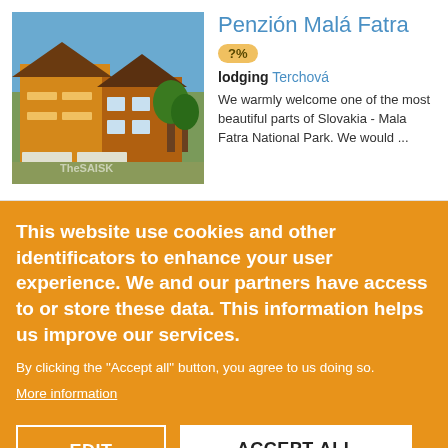[Figure (photo): Photo of Penzión Malá Fatra building exterior, a multi-story wooden/orange lodge with balconies and trees, watermarked 'TheSaisk']
Penzión Malá Fatra
?%
lodging Terchová
We warmly welcome one of the most beautiful parts of Slovakia - Mala Fatra National Park. We would ...
This website use cookies and other identificators to enhance your user experience. We and our partners have access to or store these data. This information helps us improve our services.
By clicking the "Accept all" button, you agree to us doing so.
More information
EDIT
ACCEPT ALL